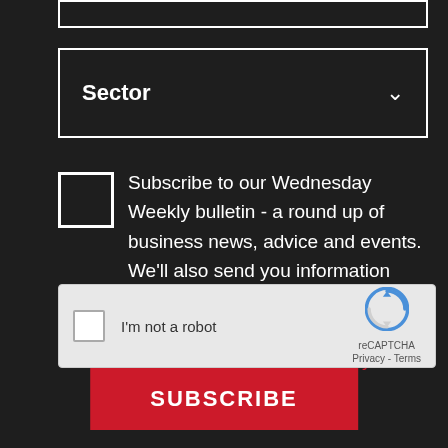[Figure (screenshot): Partial text input field at top of page, dark background]
Sector
Subscribe to our Wednesday Weekly bulletin - a round up of business news, advice and events. We'll also send you information about the magazine and our events. You can opt out at any time. View our Privacy Policy here.
[Figure (screenshot): reCAPTCHA widget with checkbox labeled I'm not a robot and Google reCAPTCHA logo with Privacy and Terms links]
SUBSCRIBE